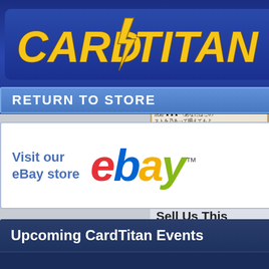[Figure (logo): CardTitan logo with yellow text and lightning bolt on blue gradient banner background]
RETURN TO STORE
[Figure (logo): eBay logo with colored letters - e(red), b(blue), a(yellow), y(green) with trademark symbol, alongside 'Visit our eBay store' text]
[Figure (screenshot): Magic: The Gathering card in Japanese, showing a creature with blue header and Japanese text]
SITE PAGES
Upcoming CardTitan Events
NO UPCOMING EVENTS
CHECK BACK LATER
Sell Us This
Sorry we are